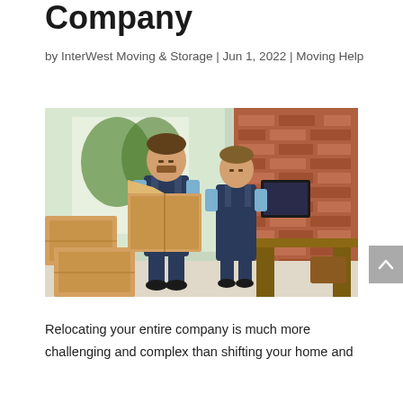Company
by InterWest Moving & Storage | Jun 1, 2022 | Moving Help
[Figure (photo): Two male movers in blue overalls carrying cardboard boxes and a computer monitor inside an office with brick walls and a wooden desk.]
Relocating your entire company is much more challenging and complex than shifting your home and